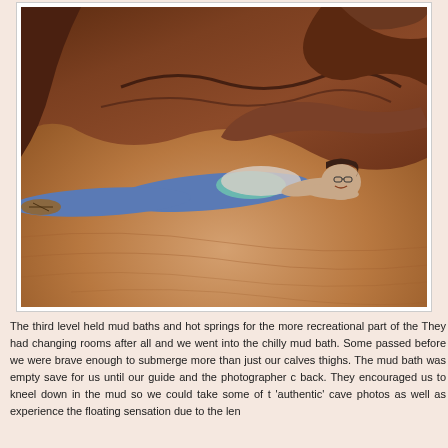[Figure (photo): A woman wearing glasses, a patterned top, teal undershirt, blue jeans and sandals is lying flat on her stomach on the smooth brown rock floor inside a cave, smiling at the camera. The cave walls and ceiling are a rich reddish-brown color.]
The third level held mud baths and hot springs for the more recreational part of the They had changing rooms after all and we went into the chilly mud bath. Some passed before we were brave enough to submerge more than just our calves thighs. The mud bath was empty save for us until our guide and the photographer c back. They encouraged us to kneel down in the mud so we could take some of t 'authentic' cave photos as well as experience the floating sensation due to the len